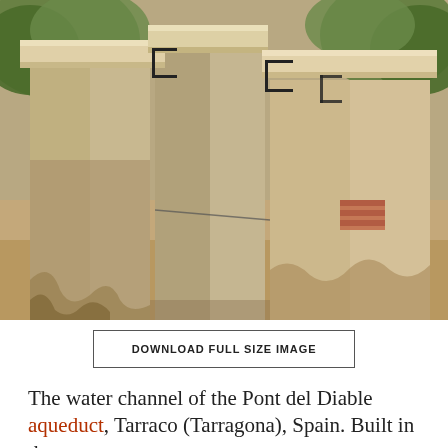[Figure (photo): Close-up photograph of the water channel atop the Pont del Diable aqueduct in Tarraco (Tarragona), Spain. Shows ancient stone masonry pillars and flat stone coping stones forming the top of the aqueduct. Black metal conservation clamps/brackets are visible on the stonework. Green vegetation is visible in the background. The ground below is sandy/gravelly.]
DOWNLOAD FULL SIZE IMAGE
The water channel of the Pont del Diable aqueduct, Tarraco (Tarragona), Spain. Built in the